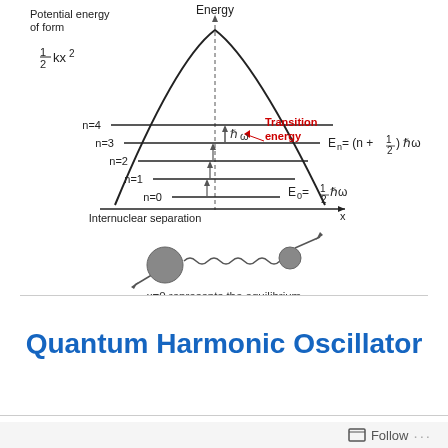[Figure (engineering-diagram): Quantum harmonic oscillator energy level diagram showing a parabolic potential well (½kx²), horizontal energy levels n=0 through n=4, transition energy arrows (ℏω) between levels, labels E_n = (n + ½)ℏω and E_0 = ½ℏω, x-axis labeled 'Internuclear separation x', y-axis labeled 'Energy', and annotation 'Potential energy of form ½kx²'. Below the diagram is an illustration of two masses (spheres) connected by a spring representing the harmonic oscillator model, with caption 'x=0 represents the equilibrium separation between the nuclei.']
Quantum Harmonic Oscillator